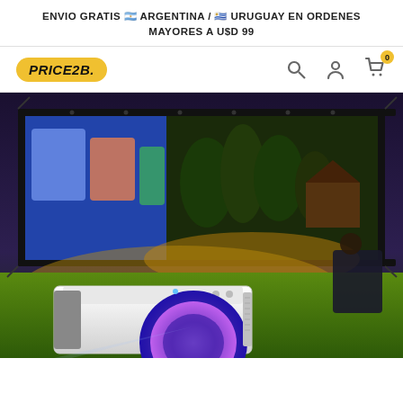ENVIO GRATIS 🇦🇷 ARGENTINA / 🇺🇾 URUGUAY EN ORDENES MAYORES A U$D 99
[Figure (logo): PRICE2B. logo in yellow rounded rectangle with italic bold text]
[Figure (photo): Outdoor home cinema setup showing a white mini projector in the foreground with a large projection screen displaying animated characters, set in a backyard at night with trees illuminated by warm light and a person sitting in a chair watching]